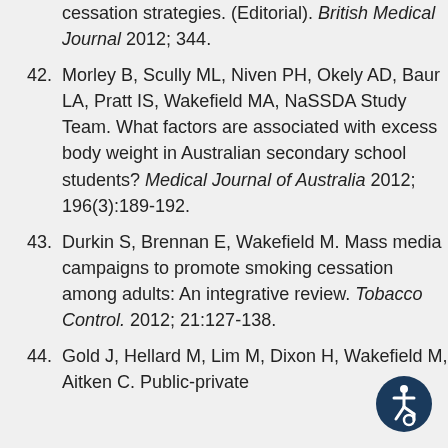cessation strategies. (Editorial). British Medical Journal 2012; 344.
42. Morley B, Scully ML, Niven PH, Okely AD, Baur LA, Pratt IS, Wakefield MA, NaSSDA Study Team. What factors are associated with excess body weight in Australian secondary school students? Medical Journal of Australia 2012; 196(3):189-192.
43. Durkin S, Brennan E, Wakefield M. Mass media campaigns to promote smoking cessation among adults: An integrative review. Tobacco Control. 2012; 21:127-138.
44. Gold J, Hellard M, Lim M, Dixon H, Wakefield M, Aitken C. Public-private